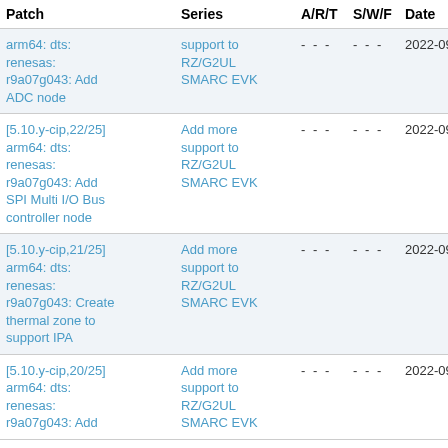| Patch | Series | A/R/T | S/W/F | Date |
| --- | --- | --- | --- | --- |
| arm64: dts: renesas: r9a07g043: Add ADC node | support to RZ/G2UL SMARC EVK | - - - | - - - | 2022-09-02 |
| [5.10.y-cip,22/25] arm64: dts: renesas: r9a07g043: Add SPI Multi I/O Bus controller node | Add more support to RZ/G2UL SMARC EVK | - - - | - - - | 2022-09-02 |
| [5.10.y-cip,21/25] arm64: dts: renesas: r9a07g043: Create thermal zone to support IPA | Add more support to RZ/G2UL SMARC EVK | - - - | - - - | 2022-09-02 |
| [5.10.y-cip,20/25] arm64: dts: renesas: r9a07g043: Add | Add more support to RZ/G2UL SMARC EVK | - - - | - - - | 2022-09-02 |